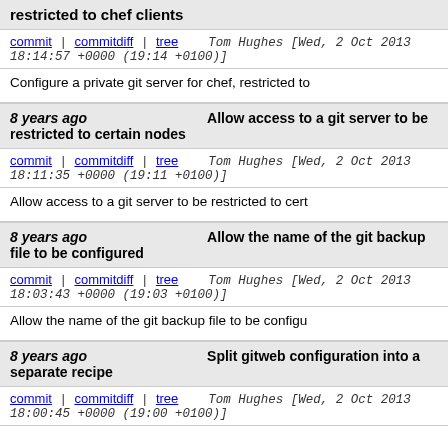restricted to chef clients
commit | commitdiff | tree   Tom Hughes [Wed, 2 Oct 2013 18:14:57 +0000 (19:14 +0100)]
Configure a private git server for chef, restricted to
8 years ago   Allow access to a git server to be restricted to certain nodes
commit | commitdiff | tree   Tom Hughes [Wed, 2 Oct 2013 18:11:35 +0000 (19:11 +0100)]
Allow access to a git server to be restricted to cert
8 years ago   Allow the name of the git backup file to be configured
commit | commitdiff | tree   Tom Hughes [Wed, 2 Oct 2013 18:03:43 +0000 (19:03 +0100)]
Allow the name of the git backup file to be configu
8 years ago   Split gitweb configuration into a separate recipe
commit | commitdiff | tree   Tom Hughes [Wed, 2 Oct 2013 18:00:45 +0000 (19:00 +0100)]